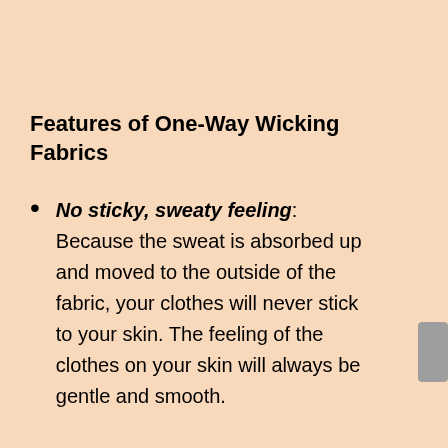Features of One-Way Wicking Fabrics
No sticky, sweaty feeling: Because the sweat is absorbed up and moved to the outside of the fabric, your clothes will never stick to your skin. The feeling of the clothes on your skin will always be gentle and smooth.
Absorbs moisture instantly: As soon as sweat touches the fabric, it is immediately absorbed up into the fabric